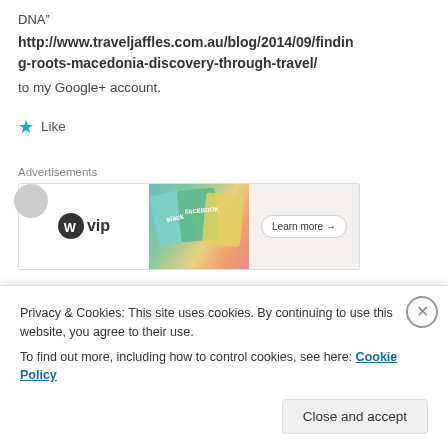DNA” http://www.traveljaffles.com.au/blog/2014/09/finding-roots-macedonia-discovery-through-travel/ to my Google+ account.
★ Like
Advertisements
[Figure (other): WordPress VIP advertisement banner with colorful card-style background and 'Learn more →' button]
Privacy & Cookies: This site uses cookies. By continuing to use this website, you agree to their use.
To find out more, including how to control cookies, see here: Cookie Policy
Close and accept